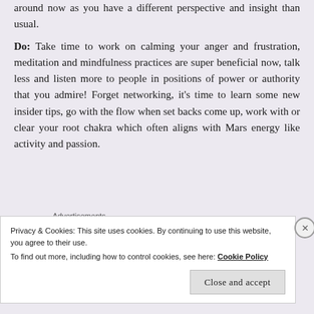around now as you have a different perspective and insight than usual.
Do: Take time to work on calming your anger and frustration, meditation and mindfulness practices are super beneficial now, talk less and listen more to people in positions of power or authority that you admire! Forget networking, it’s time to learn some new insider tips, go with the flow when set backs come up, work with or clear your root chakra which often aligns with Mars energy like activity and passion.
Advertisements
[Figure (other): WordPress advertisement banner: 'Professionally designed sites in less than a week' with WordPress logo]
Privacy & Cookies: This site uses cookies. By continuing to use this website, you agree to their use.
To find out more, including how to control cookies, see here: Cookie Policy
Close and accept